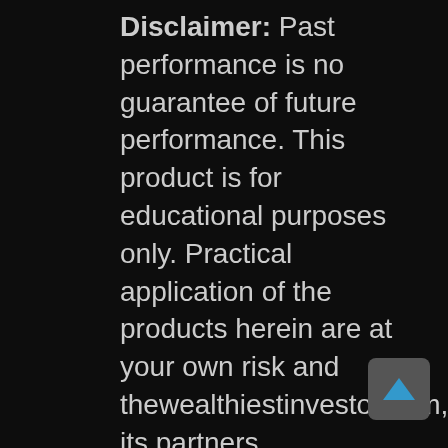Disclaimer: Past performance is no guarantee of future performance. This product is for educational purposes only. Practical application of the products herein are at your own risk and thewealthiestinvestor.com, its partners, representatives and employees assume no responsibility or liability for any use or mis-use of the product. Please contact your financial advisor for specific financial advice tailored to your personal circumstances. Any trades shown are hypothetical example and do not represent actual trades. Actual results may differ. Nothing